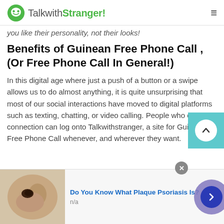TalkwithStranger!
you like their personality, not their looks!
Benefits of Guinean Free Phone Call , (Or Free Phone Call In General!)
In this digital age where just a push of a button or a swipe allows us to do almost anything, it is quite unsurprising that most of our social interactions have moved to digital platforms such as texting, chatting, or video calling. People who crave connection can log onto Talkwithstranger, a site for Guinean Free Phone Call whenever, and wherever they want.
[Figure (screenshot): Advertisement banner: image of skin with mole on left, text 'Do You Know What Plaque Psoriasis Is?' in blue with 'n/a' below, close button and next arrow button on right]